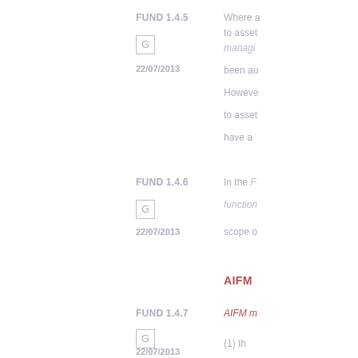FUND 1.4.5
G
22/07/2013
Where a to asset managing been au However to asset have a
FUND 1.4.6
G
22/07/2013
In the F function scope o
AIFM
FUND 1.4.7
G
22/07/2013
AIFM m
(1) th